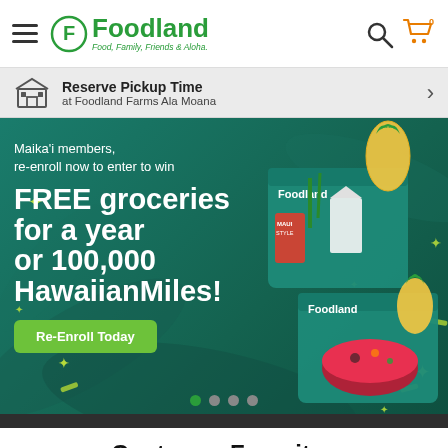Foodland — Food, Family, Friends & Aloha
Reserve Pickup Time at Foodland Farms Ala Moana
[Figure (infographic): Foodland promotional banner: Maika'i members, re-enroll now to enter to win FREE groceries for a year or 100,000 HawaiianMiles! Re-Enroll Today button. Image of Foodland grocery bags with produce.]
Customer Favorites